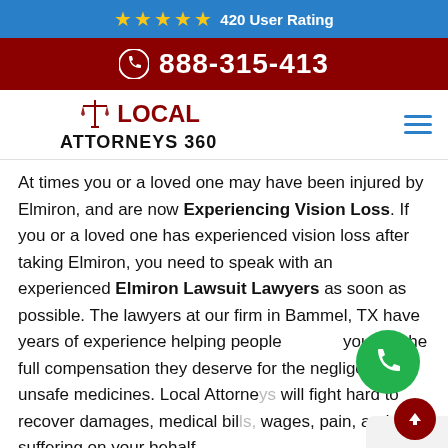★★★★★ 420 User Rating
888-315-413
[Figure (logo): Local Attorneys 360 logo with scales of justice icon]
At times you or a loved one may have been injured by Elmiron, and are now Experiencing Vision Loss. If you or a loved one has experienced vision loss after taking Elmiron, you need to speak with an experienced Elmiron Lawsuit Lawyers as soon as possible. The lawyers at our firm in Bammel, TX have years of experience helping people [...] you get the full compensation they deserve for the negligence of unsafe medicines. Local Attorneys [...] will fight hard to recover damages, medical bil[...] wages, pain, and suffering on your behalf.